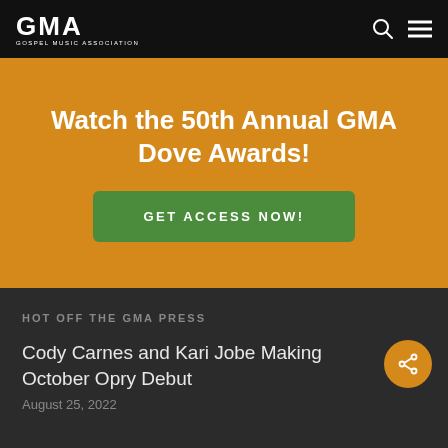GMA GOSPEL MUSIC ASSOCIATION
Watch the 50th Annual GMA Dove Awards!
GET ACCESS NOW!
HOT OFF THE GMA PRESS
Cody Carnes and Kari Jobe Making October Opry Debut
August 25, 2022